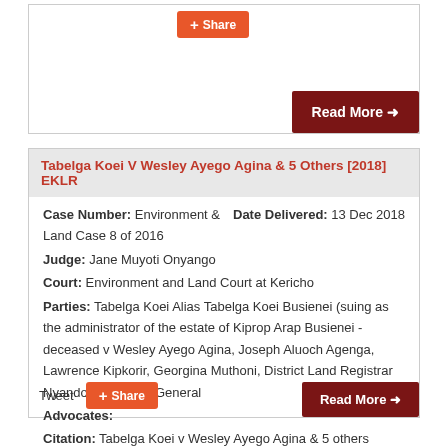Tabelga Koei V Wesley Ayego Agina & 5 Others [2018] EKLR
Case Number: Environment & Land Case 8 of 2016
Date Delivered: 13 Dec 2018
Judge: Jane Muyoti Onyango
Court: Environment and Land Court at Kericho
Parties: Tabelga Koei Alias Tabelga Koei Busienei (suing as the administrator of the estate of Kiprop Arap Busienei -deceased v Wesley Ayego Agina, Joseph Aluoch Agenga, Lawrence Kipkorir, Georgina Muthoni, District Land Registrar Nyando & Attorney General
Advocates:
Citation: Tabelga Koei v Wesley Ayego Agina & 5 others [2018] eKLR
Tweet
Share
Share